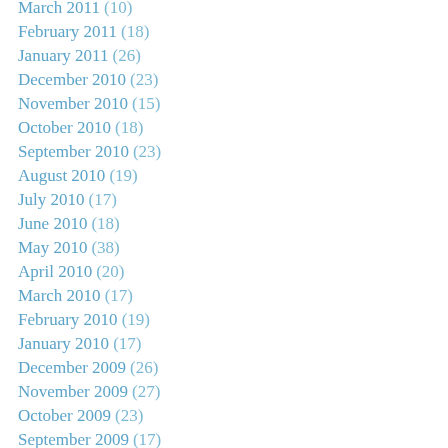March 2011 (10)
February 2011 (18)
January 2011 (26)
December 2010 (23)
November 2010 (15)
October 2010 (18)
September 2010 (23)
August 2010 (19)
July 2010 (17)
June 2010 (18)
May 2010 (38)
April 2010 (20)
March 2010 (17)
February 2010 (19)
January 2010 (17)
December 2009 (26)
November 2009 (27)
October 2009 (23)
September 2009 (17)
August 2009 (24)